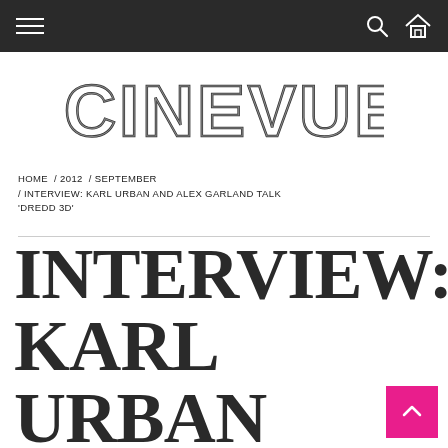CINEVUE — navigation bar with hamburger menu, search and home icons
[Figure (logo): CINEVUE logo in large outlined/striped serif-style letters]
HOME / 2012 / SEPTEMBER / INTERVIEW: KARL URBAN AND ALEX GARLAND TALK 'DREDD 3D'
INTERVIEW: KARL URBAN AND ALEX